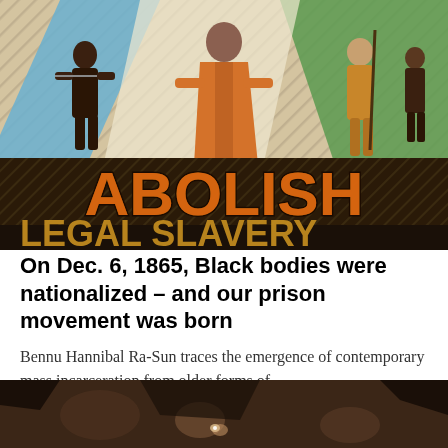[Figure (illustration): Colorful illustration showing historical figures in chains with large text reading 'ABOLISH LEGAL SLAVERY'. Figures depicted include enslaved persons and guards in a stylized poster-art format with diagonal striped background.]
On Dec. 6, 1865, Black bodies were nationalized – and our prison movement was born
Bennu Hannibal Ra-Sun traces the emergence of contemporary mass incarceration from older forms of...
[Figure (photo): Sepia-toned historical photograph showing a dark scene, partially visible at the bottom of the page.]